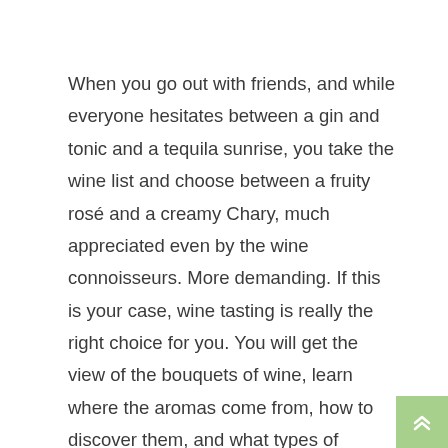When you go out with friends, and while everyone hesitates between a gin and tonic and a tequila sunrise, you take the wine list and choose between a fruity rosé and a creamy Chary, much appreciated even by the wine connoisseurs. More demanding. If this is your case, wine tasting is really the right choice for you. You will get the view of the bouquets of wine, learn where the aromas come from, how to discover them, and what types of production the winemakers use to get the best of what nature has to offer.